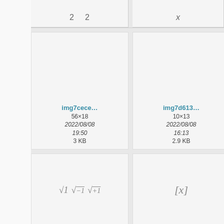[Figure (screenshot): File browser / media gallery showing math formula image thumbnails with filenames, dimensions, dates, and file sizes. Partial top row shows cells with numbers '2 2' and 'x'. Below are two full rows of image cards: img7cece... (56×18, 2022/08/08 19:50, 3 KB), img7d613... (10×13, 2022/08/08 16:13, 2.9 KB), partial third card; second row shows sqrt(1) sqrt(-1) sqrt(+1) formula image card (img7dfa8..., 136×19, 2022/08/11 09:01, 3.2 KB), [x] formula image card (img7e1c4..., 17×19, 2022/08/09 14:21, 2.9 KB), partial third card; partial bottom row visible.]